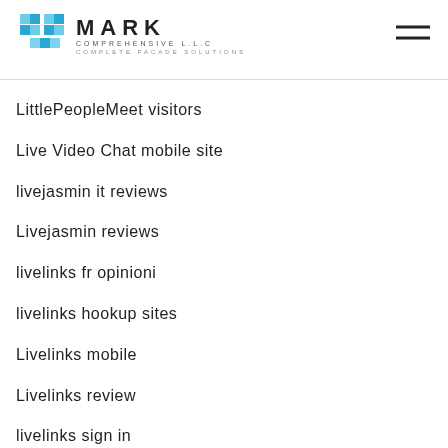MARK COMPREHENSIVE L.L.C — COMPLETE FACADE SOLUTIONS
LittlePeopleMeet visitors
Live Video Chat mobile site
livejasmin it reviews
Livejasmin reviews
livelinks fr opinioni
livelinks hookup sites
Livelinks mobile
Livelinks review
livelinks sign in
loan by phone payday loan